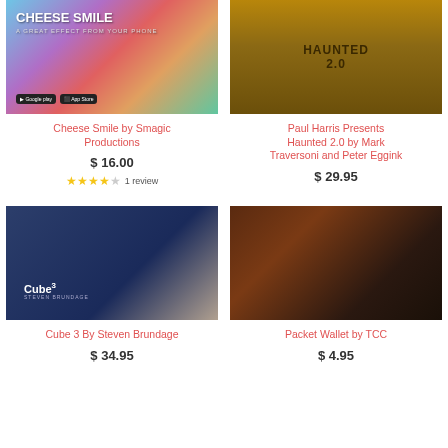[Figure (photo): Cheese Smile app advertisement with colorful polygon background and app store badges]
Cheese Smile by Smagic Productions
$ 16.00
★★★★☆ 1 review
[Figure (photo): Haunted 2.0 golden box on wooden surface]
Paul Harris Presents Haunted 2.0 by Mark Traversoni and Peter Eggink
$ 29.95
[Figure (photo): Cube 3 dark blue box by Steven Brundage]
Cube 3 By Steven Brundage
$ 34.95
[Figure (photo): Packet Wallet black leather wallet on wooden surface]
Packet Wallet by TCC
$ 4.95